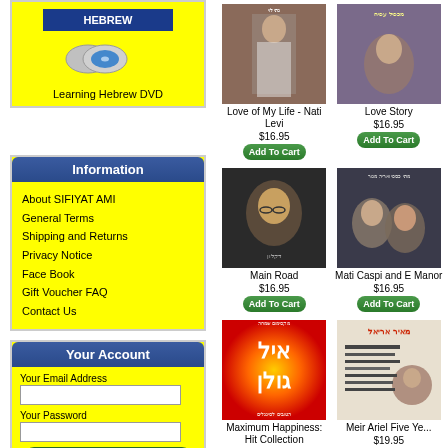[Figure (illustration): Learning Hebrew DVD product image on yellow background]
Learning Hebrew DVD
Information
About SIFIYAT AMI
General Terms
Shipping and Returns
Privacy Notice
Face Book
Gift Voucher FAQ
Contact Us
Your Account
Your Email Address
Your Password
Sign In
[Figure (photo): Love of My Life - Nati Levi album cover]
Love of My Life - Nati Levi
$16.95
Add To Cart
[Figure (photo): Love Story album cover]
Love Story
$16.95
Add To Cart
[Figure (photo): Main Road album cover - Daklon]
Main Road
$16.95
Add To Cart
[Figure (photo): Mati Caspi and E Manor album cover]
Mati Caspi and E
Manor
$16.95
Add To Cart
[Figure (photo): Maximum Happiness: Hit Collection - Ayal Golan album cover]
Maximum Happiness: Hit Collection
$15.95
Add To Cart
[Figure (photo): Meir Ariel Five Ye... album cover]
Meir Ariel Five Ye...
$19.95
Add To Cart